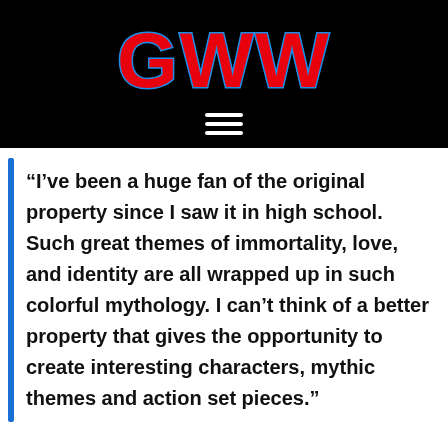[Figure (logo): GWW logo in red bold stylized letters with blue outline on black background, with hamburger menu icon below]
“I’ve been a huge fan of the original property since I saw it in high school. Such great themes of immortality, love, and identity are all wrapped up in such colorful mythology. I can’t think of a better property that gives the opportunity to create interesting characters, mythic themes and action set pieces.”